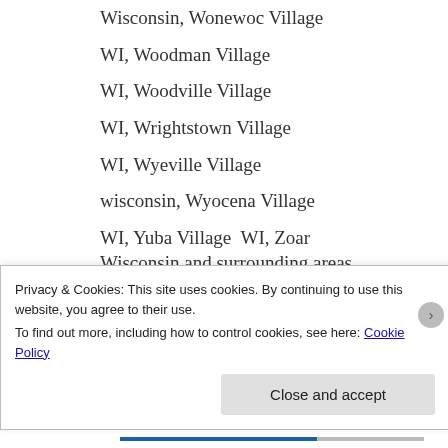Wisconsin, Wonewoc Village
WI, Woodman Village
WI, Woodville Village
WI, Wrightstown Village
WI, Wyeville Village
wisconsin, Wyocena Village
WI, Yuba Village  WI, Zoar Wisconsin and surrounding areas.
[Figure (other): Two gray tag/button elements labeled ABBOTSFORD WI and ADAMS WI, with a partial gray underline row below them]
Privacy & Cookies: This site uses cookies. By continuing to use this website, you agree to their use.
To find out more, including how to control cookies, see here: Cookie Policy
Close and accept